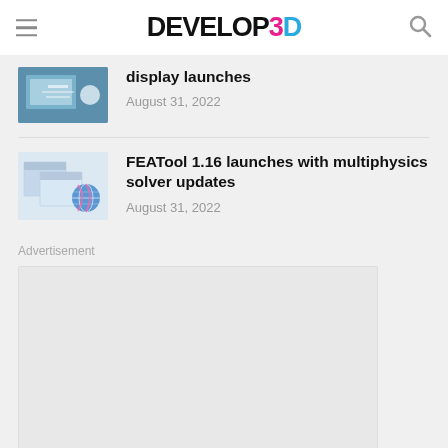DEVELOP3D
[Figure (screenshot): Thumbnail image of a partially visible article about display launches]
display launches
August 31, 2022
[Figure (screenshot): Thumbnail image for FEATool 1.16 article showing software windows and a globe icon]
FEATool 1.16 launches with multiphysics solver updates
August 31, 2022
Advertisement
[Figure (other): Empty advertisement placeholder box]